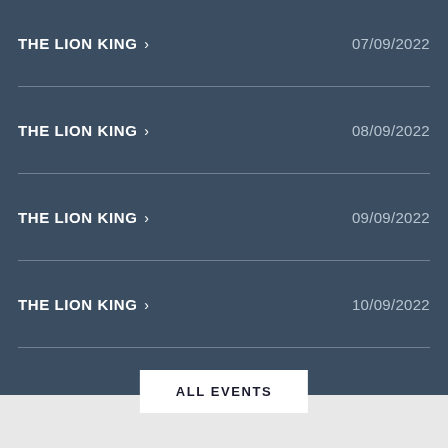THE LION KING › 07/09/2022
THE LION KING › 08/09/2022
THE LION KING › 09/09/2022
THE LION KING › 10/09/2022
ALL EVENTS